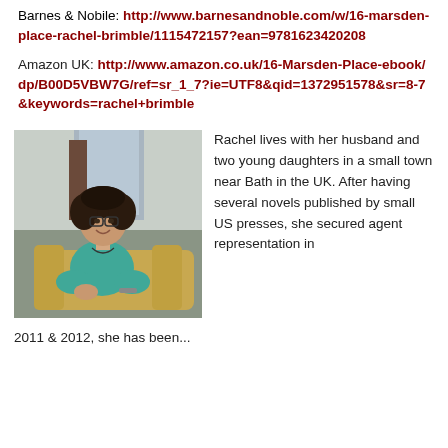Barnes & Nobile: http://www.barnesandnoble.com/w/16-marsden-place-rachel-brimble/1115472157?ean=9781623420208
Amazon UK: http://www.amazon.co.uk/16-Marsden-Place-ebook/dp/B00D5VBW7G/ref=sr_1_7?ie=UTF8&qid=1372951578&sr=8-7&keywords=rachel+brimble
[Figure (photo): Photo of Rachel Brimble, a woman with curly dark hair and glasses, wearing a teal top, seated on a tan/gold chair, smiling at the camera in what appears to be a hotel or modern building lobby.]
Rachel lives with her husband and two young daughters in a small town near Bath in the UK.  After having several novels published by small US presses, she secured agent representation in
2011 & 2012, she has been...